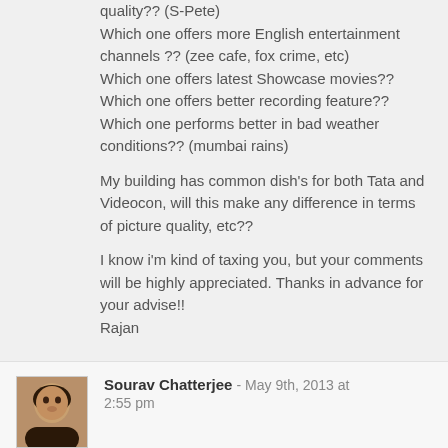quality?? (S-Pete)
Which one offers more English entertainment channels ?? (zee cafe, fox crime, etc)
Which one offers latest Showcase movies??
Which one offers better recording feature??
Which one performs better in bad weather conditions?? (mumbai rains)
My building has common dish's for both Tata and Videocon, will this make any difference in terms of picture quality, etc??
I know i'm kind of taxing you, but your comments will be highly appreciated. Thanks in advance for your advise!!
Rajan
Reply
Sourav Chatterjee - May 9th, 2013 at 2:55 pm